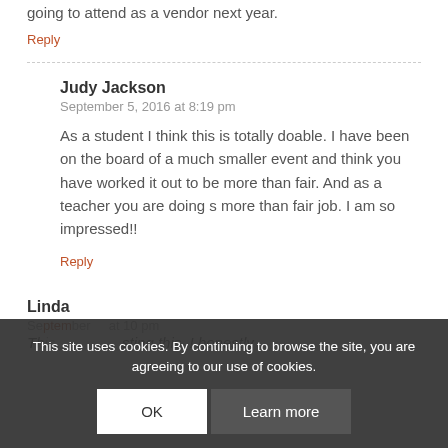going to attend as a vendor next year.
Reply
Judy Jackson
September 5, 2016 at 8:19 pm
As a student I think this is totally doable. I have been on the board of a much smaller event and think you have worked it out to be more than fair. And as a teacher you are doing s more than fair job. I am so impressed!!
Reply
Linda
September ... at 10 pm
This site uses cookies. By continuing to browse the site, you are agreeing to our use of cookies.
OK
Learn more